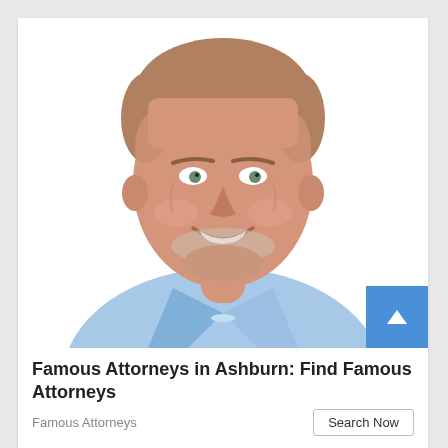[Figure (photo): Headshot of an older smiling man with short grey-brown hair and a white beard stubble, wearing a light blue collared shirt, photographed against a white background.]
Famous Attorneys in Ashburn: Find Famous Attorneys
Famous Attorneys
Search Now